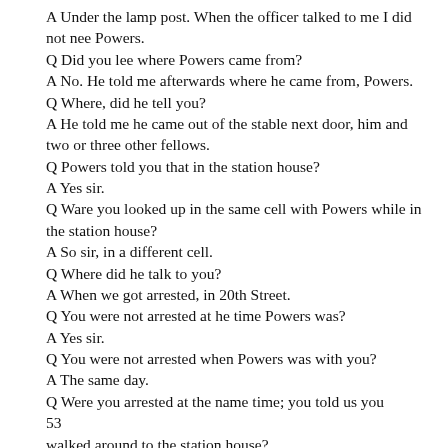A Under the lamp post. When the officer talked to me I did not nee Powers.
Q Did you lee where Powers came from?
A No. He told me afterwards where he came from, Powers.
Q Where, did he tell you?
A He told me he came out of the stable next door, him and two or three other fellows.
Q Powers told you that in the station house?
A Yes sir.
Q Ware you looked up in the same cell with Powers while in the station house?
A So sir, in a different cell.
Q Where did he talk to you?
A When we got arrested, in 20th Street.
Q You were not arrested at he time Powers was?
A Yes sir.
Q You were not arrested when Powers was with you?
A The same day.
Q Were you arrested at the name time; you told us you
53
walked around to the station house?
A Yes.
Q But you never got away from the station house, because you went to Madison Avenue?
A Powers was there when I walked in. Powers was there